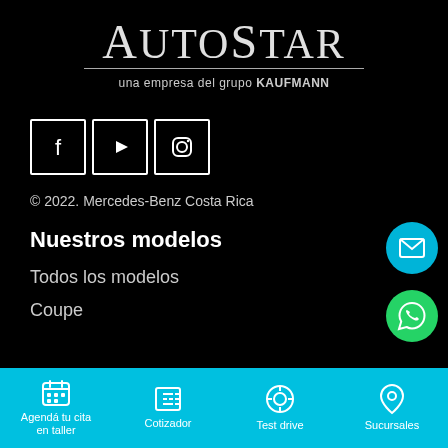[Figure (logo): AutoStar logo — 'AutoStar' in large serif font with 'una empresa del grupo KAUFMANN' subtitle, white on black background]
[Figure (infographic): Three social media icon boxes (Facebook, YouTube, Instagram) outlined in white on black background]
© 2022. Mercedes-Benz Costa Rica
Nuestros modelos
Todos los modelos
Coupe
[Figure (infographic): Cyan circular button with email/envelope icon (floating action button)]
[Figure (infographic): Green circular button with WhatsApp icon (floating action button)]
Agendá tu cita en taller | Cotizador | Test drive | Sucursales